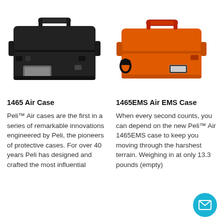[Figure (photo): Black Peli 1465 Air Case with handle on top, latches on front, label window on front panel]
[Figure (photo): Orange Peli 1465EMS Air EMS Case with red handle on top, shoulder strap attachment, label on front]
1465 Air Case
1465EMS Air EMS Case
Peli™ Air cases are the first in a series of remarkable innovations engineered by Peli, the pioneers of protective cases. For over 40 years Peli has designed and crafted the most influential
When every second counts, you can depend on the new Peli™ Air 1465EMS case to keep you moving through the harshest terrain. Weighing in at only 13.3 pounds (empty)